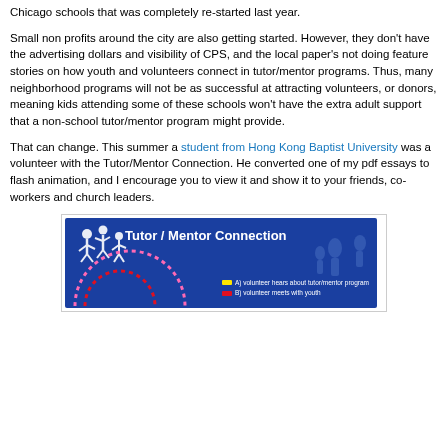Chicago schools that was completely re-started last year.
Small non profits around the city are also getting started. However, they don't have the advertising dollars and visibility of CPS, and the local paper's not doing feature stories on how youth and volunteers connect in tutor/mentor programs. Thus, many neighborhood programs will not be as successful at attracting volunteers, or donors, meaning kids attending some of these schools won't have the extra adult support that a non-school tutor/mentor program might provide.
That can change. This summer a student from Hong Kong Baptist University was a volunteer with the Tutor/Mentor Connection. He converted one of my pdf essays to flash animation, and I encourage you to view it and show it to your friends, co-workers and church leaders.
[Figure (illustration): Tutor/Mentor Connection banner image with blue background, stylized human figures, and the title 'Tutor / Mentor Connection' in white text. Below are two legend items: A) volunteer hears about tutor/mentor program (yellow bar), B) volunteer meets with youth (red bar).]